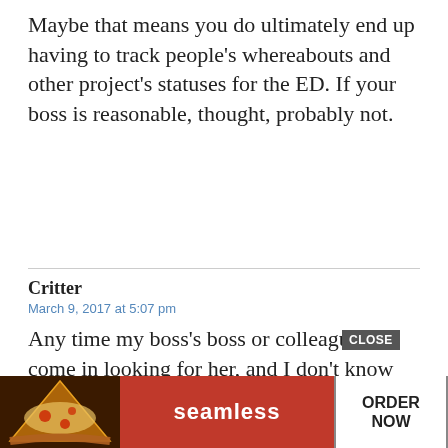Maybe that means you do ultimately end up having to track people's whereabouts and other project's statuses for the ED. If your boss is reasonable, thought, probably not.
Critter
March 9, 2017 at 5:07 pm
Any time my boss's boss or colleagues come in looking for her, and I don't know exactly where she is, I ask if they need her right away and ask if they'd like me to contact her, and since I have her cell phone number (which she usually carries with her) it's easy enough. But that's because we've established this, so it's definitely something to be addressed with your boss. It kind of sounds like your boss and the ED haven't es[CLOSE]ed what t[ad]ing to do wit[ad]be.
[Figure (other): Seamless food delivery advertisement banner with pizza image on left, red Seamless logo in center, white ORDER NOW button on right, and a CLOSE button overlay]